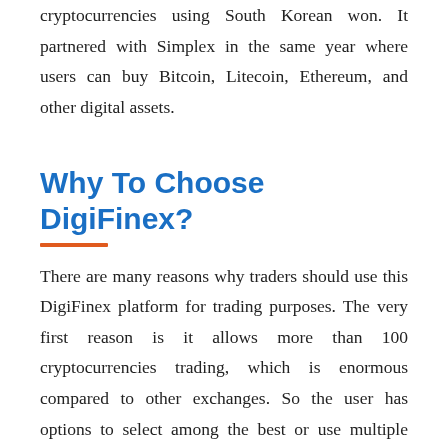cryptocurrencies using South Korean won. It partnered with Simplex in the same year where users can buy Bitcoin, Litecoin, Ethereum, and other digital assets.
Why To Choose DigiFinex?
There are many reasons why traders should use this DigiFinex platform for trading purposes. The very first reason is it allows more than 100 cryptocurrencies trading, which is enormous compared to other exchanges. So the user has options to select among the best or use multiple digital assets to trade.
Moreover, it majorly focuses on the Asian market, except traders from Singapore. So it provides high-end liquidity and trading volumes. Another primary reason